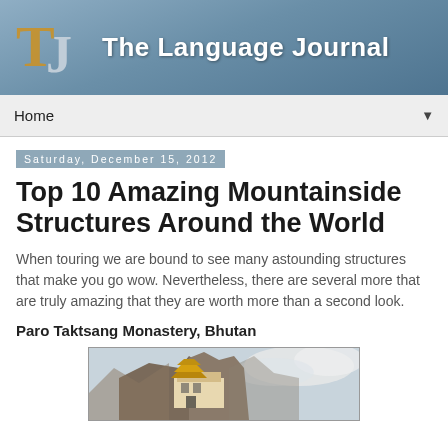The Language Journal
Home
Saturday, December 15, 2012
Top 10 Amazing Mountainside Structures Around the World
When touring we are bound to see many astounding structures that make you go wow. Nevertheless, there are several more that are truly amazing that they are worth more than a second look.
Paro Taktsang Monastery, Bhutan
[Figure (photo): Photo of Paro Taktsang Monastery built into a rocky mountainside in Bhutan, with traditional tiered roofs and cloudy sky background]